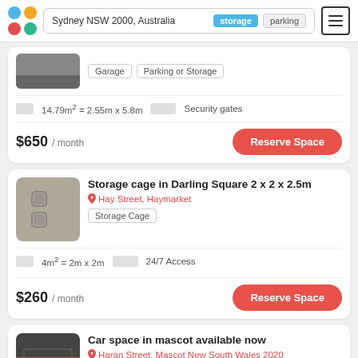Sydney NSW 2000, Australia | storage | parking
Garage | Parking or Storage
14.79m² = 2.55m x 5.8m | Security gates
$650 / month
Reserve Space
Storage cage in Darling Square 2 x 2 x 2.5m
Hay Street, Haymarket
Storage Cage
4m² = 2m x 2m | 24/7 Access
$260 / month
Reserve Space
Car space in mascot available now
Haran Street, Mascot New South Wales 2020